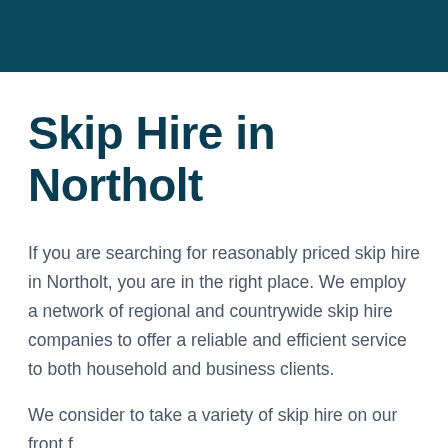Skip Hire in Northolt
If you are searching for reasonably priced skip hire in Northolt, you are in the right place. We employ a network of regional and countrywide skip hire companies to offer a reliable and efficient service to both household and business clients.
We consider to take a variety of skip hire on our front f…